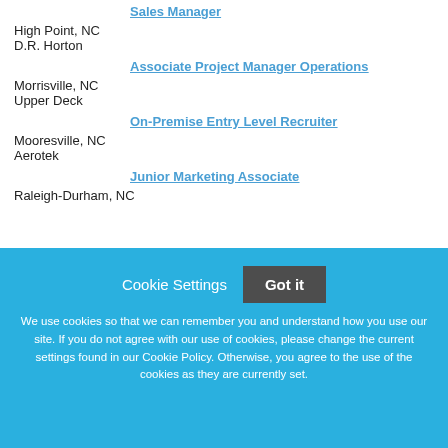Sales Manager
High Point, NC
D.R. Horton
Associate Project Manager Operations
Morrisville, NC
Upper Deck
On-Premise Entry Level Recruiter
Mooresville, NC
Aerotek
Junior Marketing Associate
Raleigh-Durham, NC
Cookie Settings  Got it
We use cookies so that we can remember you and understand how you use our site. If you do not agree with our use of cookies, please change the current settings found in our Cookie Policy. Otherwise, you agree to the use of the cookies as they are currently set.